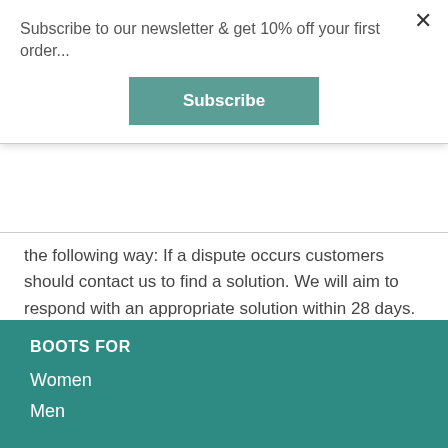Subscribe to our newsletter & get 10% off your first order...
Subscribe
the following way: If a dispute occurs customers should contact us to find a solution. We will aim to respond with an appropriate solution within 28 days.
BOOTS FOR
Women
Men